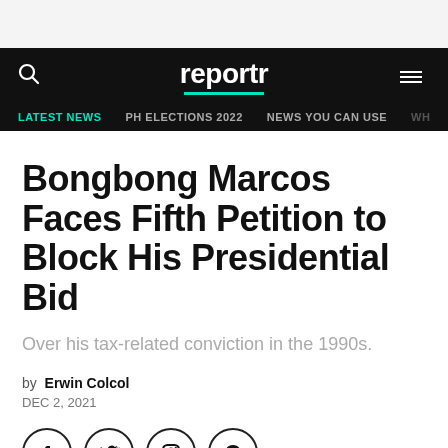reportr — LATEST NEWS | PH ELECTIONS 2022 | NEWS YOU CAN USE
Bongbong Marcos Faces Fifth Petition to Block His Presidential Bid
Over his tax-related conviction in the 1990s.
by Erwin Colcol
DEC 2, 2021